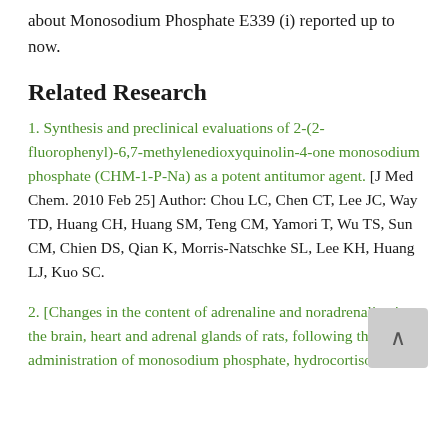about Monosodium Phosphate E339 (i) reported up to now.
Related Research
1. Synthesis and preclinical evaluations of 2-(2-fluorophenyl)-6,7-methylenedioxyquinolin-4-one monosodium phosphate (CHM-1-P-Na) as a potent antitumor agent. [J Med Chem. 2010 Feb 25] Author: Chou LC, Chen CT, Lee JC, Way TD, Huang CH, Huang SM, Teng CM, Yamori T, Wu TS, Sun CM, Chien DS, Qian K, Morris-Natschke SL, Lee KH, Huang LJ, Kuo SC.
2. [Changes in the content of adrenaline and noradrenaline in the brain, heart and adrenal glands of rats, following the administration of monosodium phosphate, hydrocortisone and